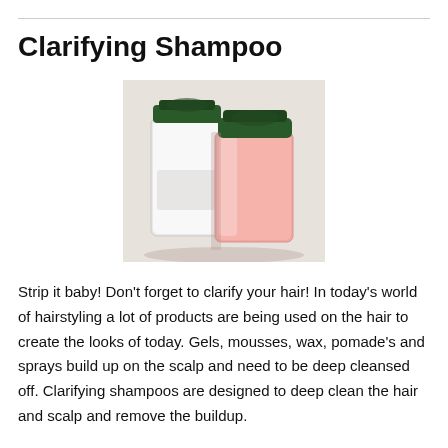Clarifying Shampoo
[Figure (photo): Two shampoo bottles with dark green caps — one clear/white bottle and one pink bottle — photographed together on a light background.]
Strip it baby!  Don't forget to clarify your hair!  In today's world of hairstyling a lot of products are being used on the hair to create the looks of today. Gels, mousses, wax, pomade's and sprays build up on the scalp and need to be deep cleansed off. Clarifying shampoos are designed to deep clean the hair and scalp and remove the buildup.